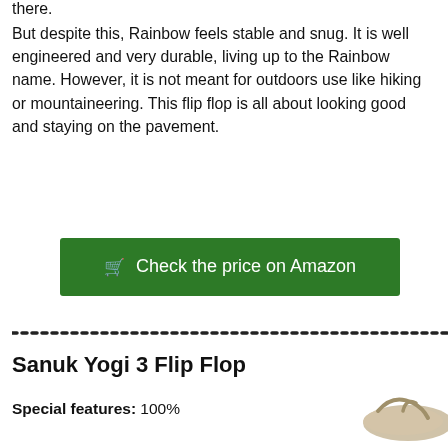there.
But despite this, Rainbow feels stable and snug. It is well engineered and very durable, living up to the Rainbow name. However, it is not meant for outdoors use like hiking or mountaineering. This flip flop is all about looking good and staying on the pavement.
🛒 Check the price on Amazon
Sanuk Yogi 3 Flip Flop
Special features: 100%